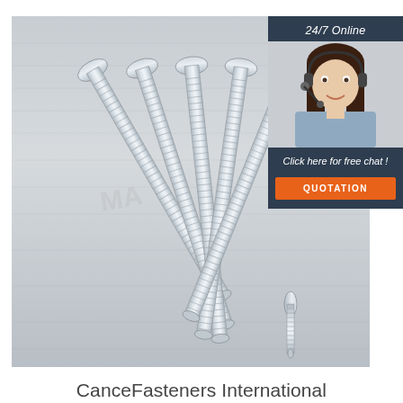[Figure (photo): Photograph of multiple long threaded bolts with mushroom/truss heads fanned out on a brushed metal surface, showing threaded shanks]
[Figure (photo): Customer service representative woman with headset smiling, overlaid with dark navy panel showing 24/7 Online label, Click here for free chat text, and orange QUOTATION button]
CanceFasteners International